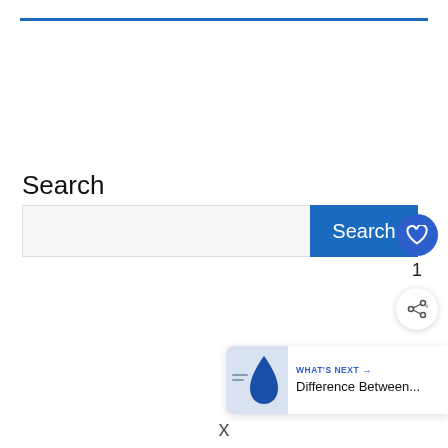Search
[Figure (screenshot): Search input bar with a text field and a blue Search button]
[Figure (illustration): Blue circular heart/like button with white heart icon, count of 1, and a white circular share button with share icon]
[Figure (infographic): What's Next panel showing a thumbnail with a blue drop shape and text reading WHAT'S NEXT -> Difference Between...]
x